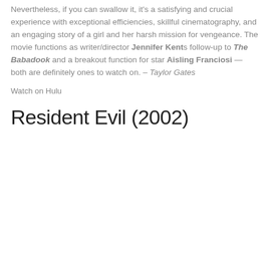Nevertheless, if you can swallow it, it's a satisfying and crucial experience with exceptional efficiencies, skillful cinematography, and an engaging story of a girl and her harsh mission for vengeance. The movie functions as writer/director Jennifer Kents follow-up to The Babadook and a breakout function for star Aisling Franciosi — both are definitely ones to watch on. – Taylor Gates
Watch on Hulu
Resident Evil (2002)